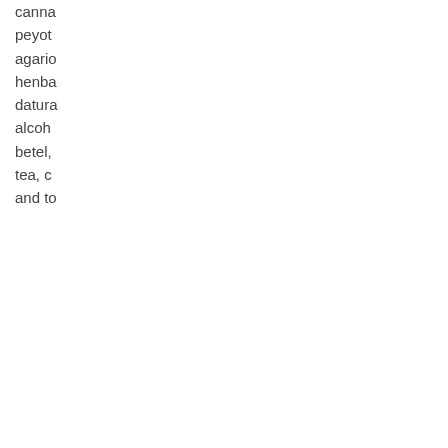canna peyote agario henba datura alcoho betel, tea, c and to
• A bo credit startin of eth that c to the day
The p of Lou Lewin Phant 1924 era of